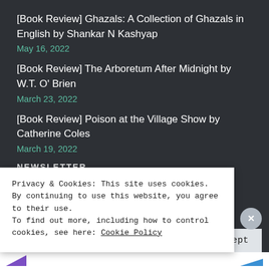[Book Review] Ghazals: A Collection of Ghazals in English by Shankar N Kashyap
May 16, 2022
[Book Review] The Arboretum After Midnight by W.T. O' Brien
March 23, 2022
[Book Review] Poison at the Village Show by Catherine Coles
March 19, 2022
NEWSLETTER
Privacy & Cookies: This site uses cookies. By continuing to use this website, you agree to their use.
To find out more, including how to control cookies, see here: Cookie Policy